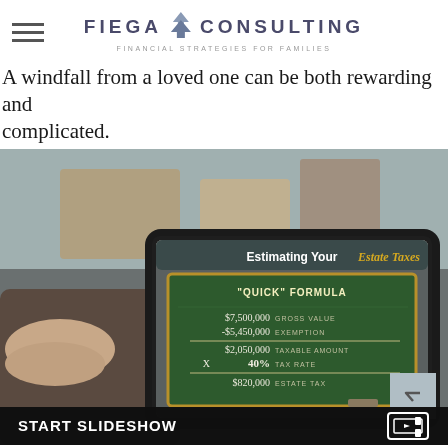FIEGA CONSULTING — FINANCIAL STRATEGIES FOR FAMILIES
A windfall from a loved one can be both rewarding and complicated.
[Figure (screenshot): Tablet device displaying a chalkboard slide titled 'Estimating Your Estate Taxes' with a 'Quick Formula' showing: $7,500,000 Gross Value, -$5,450,000 Exemption, $2,050,000 Taxable Amount, x 40% Tax Rate, $820,000 Estate Tax. Below the image is a START SLIDESHOW bar with a video icon.]